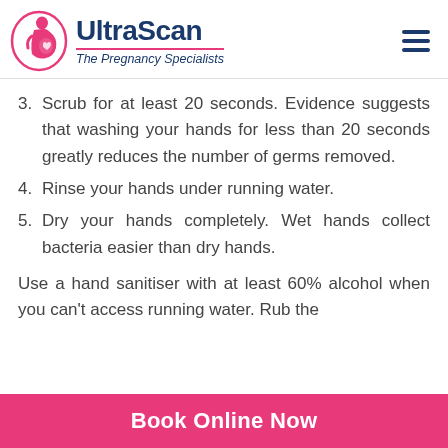UltraScan – The Pregnancy Specialists
3. Scrub for at least 20 seconds. Evidence suggests that washing your hands for less than 20 seconds greatly reduces the number of germs removed.
4. Rinse your hands under running water.
5. Dry your hands completely. Wet hands collect bacteria easier than dry hands.
Use a hand sanitiser with at least 60% alcohol when you can't access running water. Rub the
Book Online Now